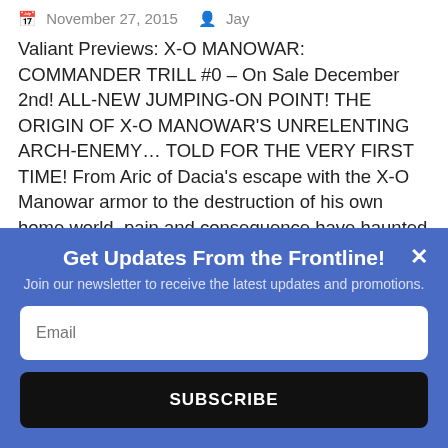November 27, 2015   Jay
Valiant Previews: X-O MANOWAR: COMMANDER TRILL #0 – On Sale December 2nd! ALL-NEW JUMPING-ON POINT! THE ORIGIN OF X-O MANOWAR'S UNRELENTING ARCH-ENEMY… TOLD FOR THE VERY FIRST TIME! From Aric of Dacia's escape with the X-O Manowar armor to the destruction of his own home world, pain and consequence have haunted the life of the alien general called Commander Trill. Now, on the eve of the most devastating assault yet, find out why with an essential, standalone zero issue detailing the battle-scarred life and origin of the Vine's mightiest military leader…and…
Get Updates From the Frontline!
Join our newsletter to receive the latest updates and promotions.
Email
SUBSCRIBE